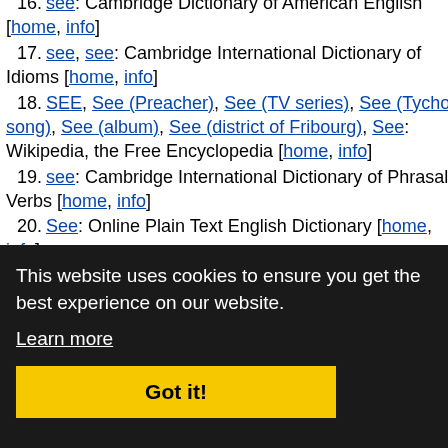16. see: Cambridge Dictionary of American English [home, info]
17. see, see: Cambridge International Dictionary of Idioms [home, info]
18. SEE, See (Preacher), See (TV series), See (Tycho song), See (album), See (district of Fribourg), See: Wikipedia, the Free Encyclopedia [home, info]
19. see: Cambridge International Dictionary of Phrasal Verbs [home, info]
20. See: Online Plain Text English Dictionary [home, info]
21. ...1913
22. ...ymezone [home, info]
23. See (m), see: AllWords.com Multi-Lingual Dictionary [home, info]
24. see: Webster's ... Dictionary [home, info]
25. SEE: Stammtisch Beau Fleuve Acronyms [home, info]
This website uses cookies to ensure you get the best experience on our website. Learn more Got it!